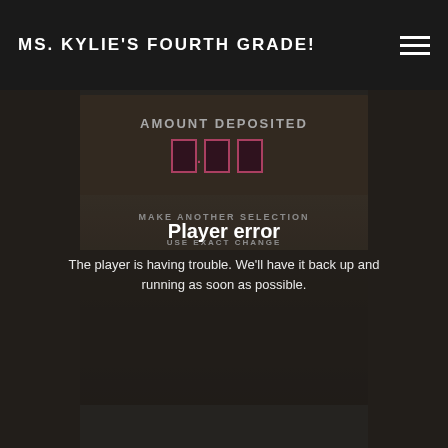MS. KYLIE'S FOURTH GRADE!
[Figure (photo): Vending machine display showing 'AMOUNT DEPOSITED' with digital display boxes showing 0.00, and text 'MAKE ANOTHER SELECTION' and 'USE EXACT CHANGE' visible. The image is darkened.]
Player error
The player is having trouble. We'll have it back up and running as soon as possible.